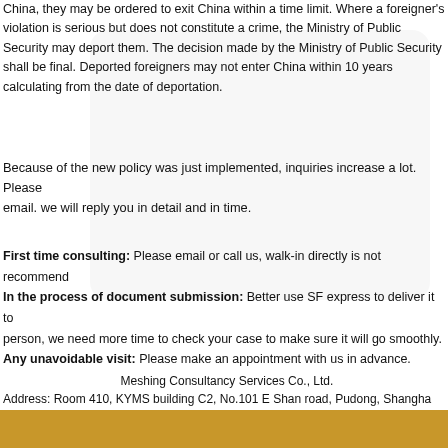China, they may be ordered to exit China within a time limit. Where a foreigner's violation is serious but does not constitute a crime, the Ministry of Public Security may deport them. The decision made by the Ministry of Public Security shall be final. Deported foreigners may not enter China within 10 years calculating from the date of deportation.
Because of the new policy was just implemented, inquiries increase a lot. Please contact us by email. we will reply you in detail and in time.
First time consulting: Please email or call us, walk-in directly is not recommended.
In the process of document submission: Better use SF express to deliver it to us; if you insist to come in person, we need more time to check your case to make sure it will go smoothly.
Any unavoidable visit: Please make an appointment with us in advance.
Meshing Consultancy Services Co., Ltd.
Address: Room 410, KYMS building C2, No.101 E Shan road, Pudong, Shanghai
Operation Time: Mon-Fri 9am-6pm (12:30am-1:30pm lunch) Public Holidy Check
Tel1: 021-51699039 (You can inquire in English, Japanese or Chinese)
Tel2: 021-63075776
Emergency: 13501828752
E-mail: info@visainchina.com
Website: http://www.visainchina.com